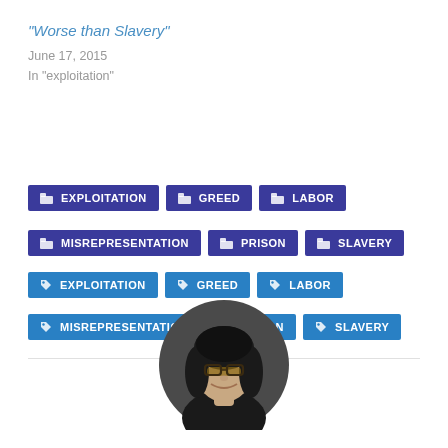“Worse than Slavery”
June 17, 2015
In „xploitation”
EXPLOITATION (category tag)
GREED (category tag)
LABOR (category tag)
MISREPRESENTATION (category tag)
PRISON (category tag)
SLAVERY (category tag)
EXPLOITATION (tag)
GREED (tag)
LABOR (tag)
MISREPRESENTATION (tag)
PRISON (tag)
SLAVERY (tag)
[Figure (photo): Circular cropped photo of a woman with dark hair, glasses, and a smile]